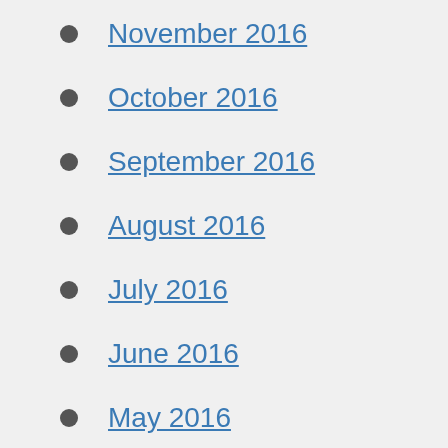November 2016
October 2016
September 2016
August 2016
July 2016
June 2016
May 2016
April 2016
March 2016
February 2016
January 2016
December 2015
November 2015
October 2015
September 2015
August 2015
July 2015